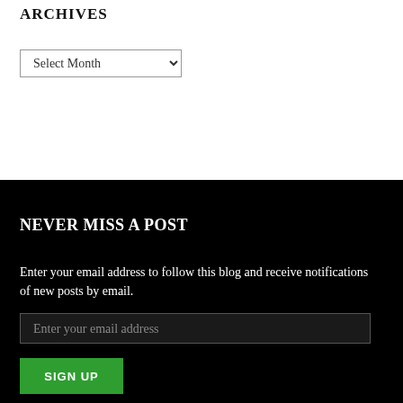ARCHIVES
[Figure (screenshot): Select Month dropdown widget]
NEVER MISS A POST
Enter your email address to follow this blog and receive notifications of new posts by email.
[Figure (screenshot): Email input field with placeholder text 'Enter your email address']
[Figure (screenshot): Green SIGN UP button]
Join 4,634 other followers
[Figure (screenshot): WordPress Follow button with count badge showing 93]